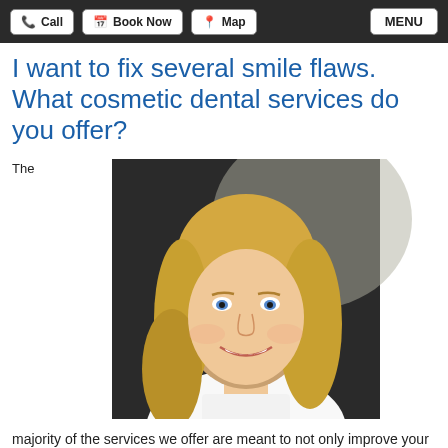Call | Book Now | Map | MENU
I want to fix several smile flaws. What cosmetic dental services do you offer?
The
[Figure (photo): Professional photo of a smiling blonde woman with blue eyes wearing a white shirt, against a dark blurred background.]
majority of the services we offer are meant to not only improve your oral health but also enhance your smile. These include: